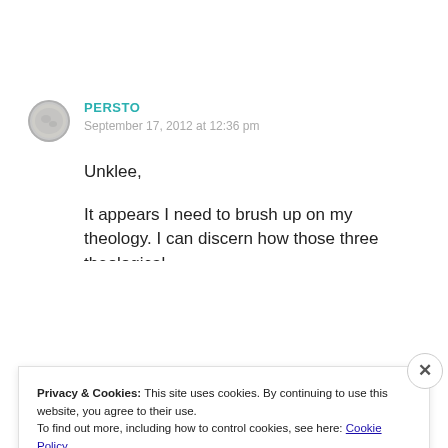PERSTO
September 17, 2012 at 12:36 pm
Unklee,
It appears I need to brush up on my theology. I can discern how those three theological
Privacy & Cookies: This site uses cookies. By continuing to use this website, you agree to their use.
To find out more, including how to control cookies, see here: Cookie Policy
Close and accept